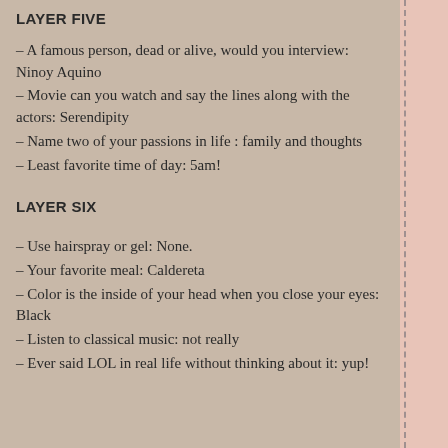LAYER FIVE
– A famous person, dead or alive, would you interview: Ninoy Aquino
– Movie can you watch and say the lines along with the actors: Serendipity
– Name two of your passions in life : family and thoughts
– Least favorite time of day: 5am!
LAYER SIX
– Use hairspray or gel: None.
– Your favorite meal: Caldereta
– Color is the inside of your head when you close your eyes: Black
– Listen to classical music: not really
– Ever said LOL in real life without thinking about it: yup!